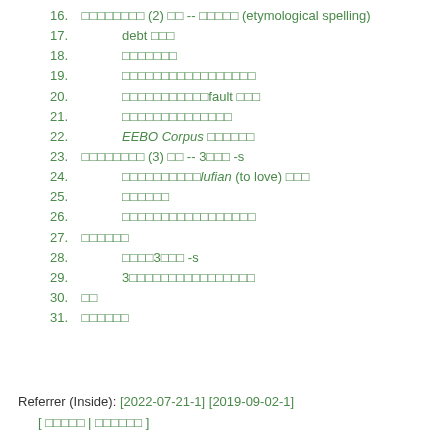16. □□□□□□□□ (2) □□ -- □□□□□ (etymological spelling)
17.    debt □□□
18.    □□□□□□□
19.    □□□□□□□□□□□□□□□□□
20.    □□□□□□□□□□□fault □□□
21.    □□□□□□□□□□□□□□
22.    EEBO Corpus □□□□□□
23. □□□□□□□□ (3) □□ -- 3□□□ -s
24.    □□□□□□□□□□lufian (to love) □□□
25.    □□□□□□
26.    □□□□□□□□□□□□□□□□□
27. □□□□□□
28.    □□□□3□□□ -s
29.    3□□□□□□□□□□□□□□□□
30. □□
31. □□□□□□
Referrer (Inside): [2022-07-21-1] [2019-09-02-1]
[ □□□□□ | □□□□□□ ]